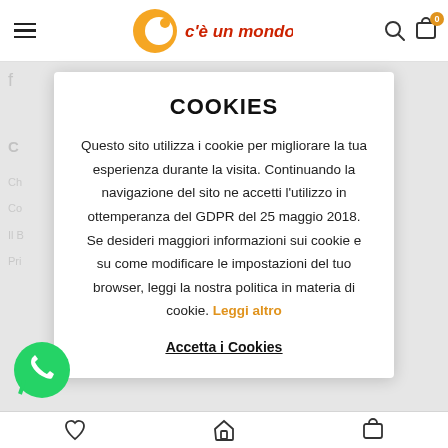cè un mondo — header with hamburger menu, logo, search and cart icons
COOKIES
Questo sito utilizza i cookie per migliorare la tua esperienza durante la visita. Continuando la navigazione del sito ne accetti l'utilizzo in ottemperanza del GDPR del 25 maggio 2018. Se desideri maggiori informazioni sui cookie e su come modificare le impostazioni del tuo browser, leggi la nostra politica in materia di cookie. Leggi altro
Accetta i Cookies
Bottom navigation bar with heart, home, and cart icons